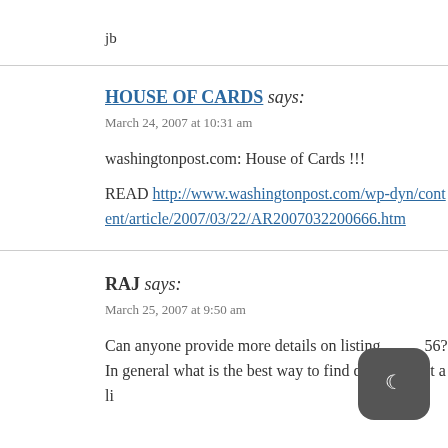jb
HOUSE OF CARDS says:
March 24, 2007 at 10:31 am
washingtonpost.com: House of Cards !!!
READ http://www.washingtonpost.com/wp-dyn/content/article/2007/03/22/AR2007032200666.htm
RAJ says:
March 25, 2007 at 9:50 am
Can anyone provide more details on listing 56? In general what is the best way to find details about a li